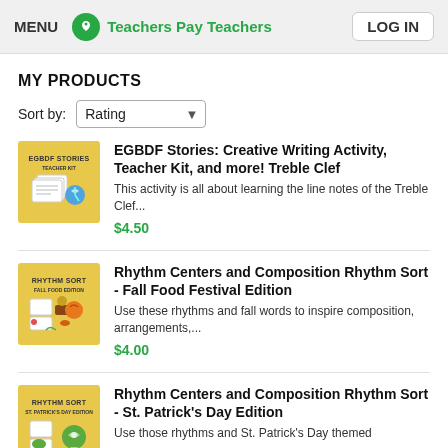MENU  Teachers Pay Teachers  LOG IN
MY PRODUCTS
Sort by: Rating
[Figure (screenshot): EGBDF Stories Teacher Kit product thumbnail - yellow background with illustrated girl and music notes]
EGBDF Stories: Creative Writing Activity, Teacher Kit, and more! Treble Clef
This activity is all about learning the line notes of the Treble Clef...
$4.50
[Figure (screenshot): Rhythm Sort Fall Food Edition product thumbnail - yellow background with food characters and music notes]
Rhythm Centers and Composition Rhythm Sort - Fall Food Festival Edition
Use these rhythms and fall words to inspire composition, arrangements,...
$4.00
[Figure (screenshot): Rhythm Sort St. Patrick's Day Edition product thumbnail - yellow background with green themed characters]
Rhythm Centers and Composition Rhythm Sort - St. Patrick's Day Edition
Use those rhythms and St. Patrick's Day themed